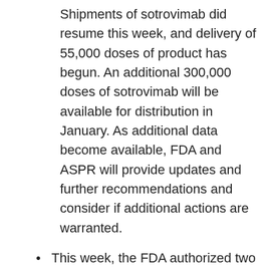Shipments of sotrovimab did resume this week, and delivery of 55,000 doses of product has begun. An additional 300,000 doses of sotrovimab will be available for distribution in January. As additional data become available, FDA and ASPR will provide updates and further recommendations and consider if additional actions are warranted.
This week, the FDA authorized two oral antivirals for the treatment of COVID-19 in certain patients.
Pfizer's Paxlovid (nirmatrelvir tablets and ritonavir tablets, co-packaged for oral use) is